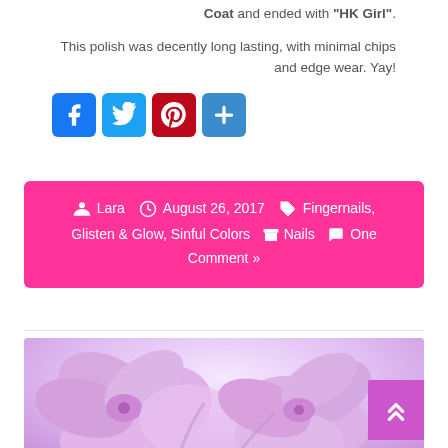Coat and ended with "HK Girl".
This polish was decently long lasting, with minimal chips and edge wear. Yay!
[Figure (other): Social sharing buttons: Facebook, Twitter, Pinterest, Share (plus icon)]
Lara  August 26, 2017  Fingernails, Glisten & Glow, Sinful Colors  Nails  One Comment »
[Figure (photo): Pink/purple orchid flowers on a soft lavender-pink gradient background]